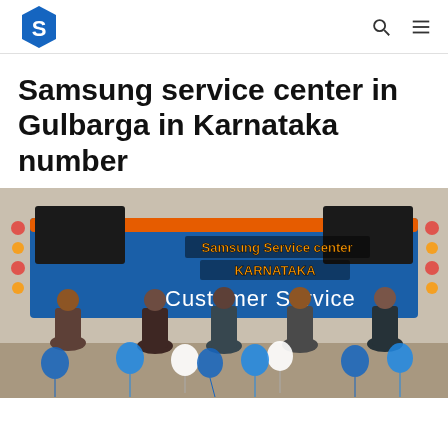Samsung service center logo, search and menu icons
Samsung service center in Gulbarga in Karnataka number
[Figure (photo): Photo of a Samsung Service Center in Karnataka showing staff members standing in front of a blue Customer Service banner with balloons. Text overlay reads 'Samsung Service center KARNATAKA'.]